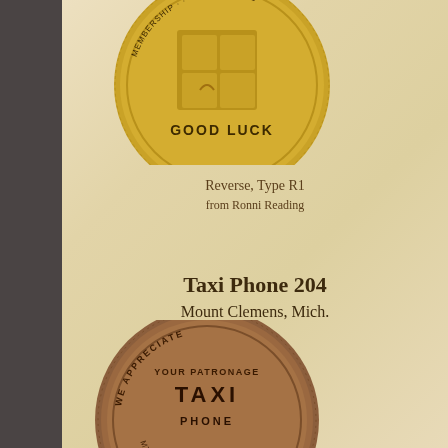[Figure (photo): Gold-colored coin showing Good Luck motif with MEMBERSHIP GLORY CLUB text around rim, bottom reads GOOD LUCK - top portion visible, cut off at top]
Reverse, Type R1
from Ronni Reading
Taxi Phone 204
Mount Clemens, Mich.
[Figure (photo): Brown copper-colored taxi token coin reading WE APPRECIATE YOUR PATRONAGE TAXI PHONE with Mount Clemens Mich text around rim - partially cut off at bottom]